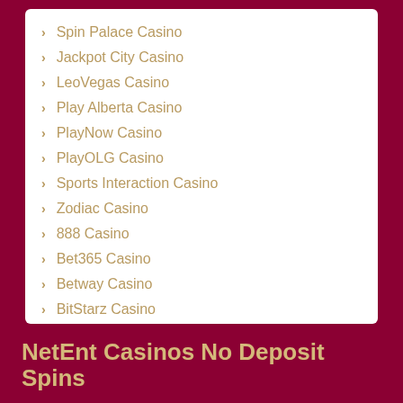Spin Palace Casino
Jackpot City Casino
LeoVegas Casino
Play Alberta Casino
PlayNow Casino
PlayOLG Casino
Sports Interaction Casino
Zodiac Casino
888 Casino
Bet365 Casino
Betway Casino
BitStarz Casino
Casumo Casino
NetEnt Casinos No Deposit Spins